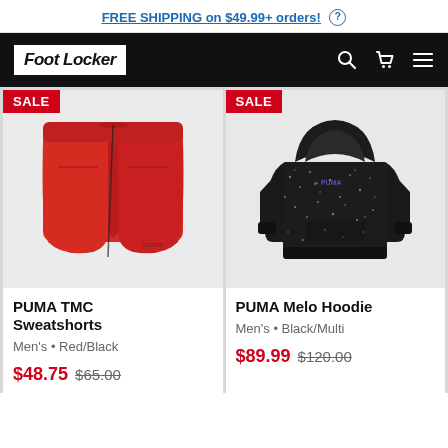FREE SHIPPING on $49.99+ orders! ?
[Figure (logo): Foot Locker logo in white box on black navigation bar with search, cart, and menu icons]
[Figure (photo): Red PUMA TMC Sweatshorts with SALE badge]
PUMA TMC Sweatshorts
Men's • Red/Black
$48.75 $65.00
[Figure (photo): Black PUMA Melo Hoodie with speckle print and SALE badge]
PUMA Melo Hoodie
Men's • Black/Multi
$89.99 $120.00